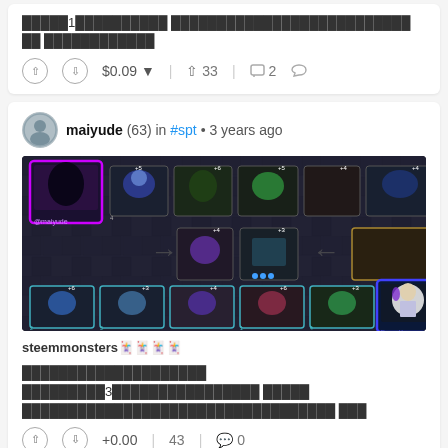█████1██████████ ██████████████████████████ ██ ████████████
⌃ ⌄ $0.09 ▾  ⌃ 33  💬 2  ↩
maiyude (63) in #spt • 3 years ago
[Figure (screenshot): Splinterlands game battle screenshot showing monster cards in a dark dungeon environment. Top row has multiple cards including a highlighted purple-bordered card on the left. Middle row shows battle in progress. Bottom row shows opponent cards with a blue-bordered card on the right.]
steemmonsters🃏🃏🃏🃏
████████████████████ █████████3████████████████ █████ ██████████████████████████████████ ███
⌃ ⌄ +0.00  43  💬 0